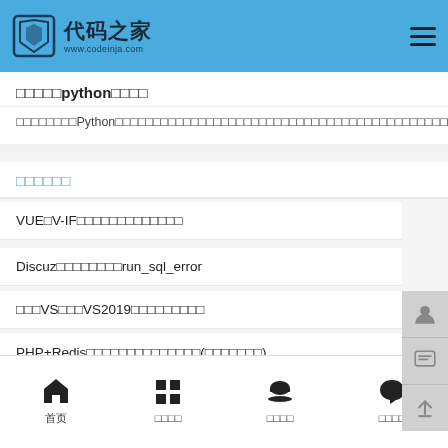代码之家 www.codeinja.com
□□□□□python□□□□
□□□□□□□□Python□□□□□□□□□□□□□□□□□□□□□□□□□□□□□□□□□□□□□□□□□□□□□
□□□□□□
VUE□V-IF□□□□□□□□□□□□□
Discuz□□□□□□□□run_sql_error
□□□VS□□□VS2019□□□□□□□□□
PHP+Redis□□□□□□□□□□□□□□(□□□□□□□)
Oracle□□□□□□/□□□/□□/□□□□□□□□□□
□□首页  □□□□分类  □□□□咖啡  □□□□留言